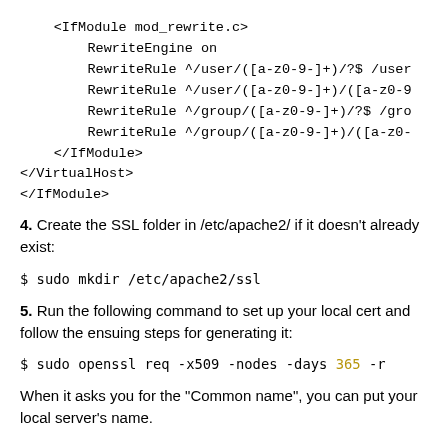<IfModule mod_rewrite.c>
    RewriteEngine on
    RewriteRule ^/user/([a-z0-9-]+)/?$ /user
    RewriteRule ^/user/([a-z0-9-]+)/([a-z0-9-
    RewriteRule ^/group/([a-z0-9-]+)/?$ /grc
    RewriteRule ^/group/([a-z0-9-]+)/([a-z0-
  </IfModule>
</VirtualHost>
</IfModule>
4. Create the SSL folder in /etc/apache2/ if it doesn't already exist:
$ sudo mkdir /etc/apache2/ssl
5. Run the following command to set up your local cert and follow the ensuing steps for generating it:
$ sudo openssl req -x509 -nodes -days 365 -r
When it asks you for the "Common name", you can put your local server's name.